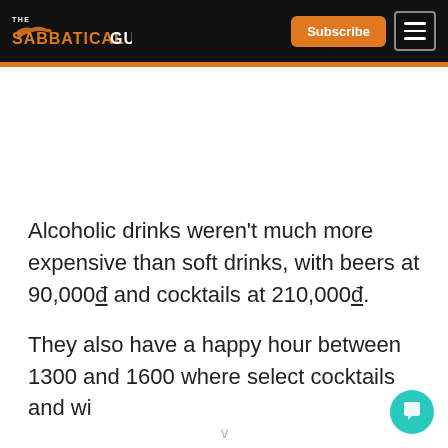The Sabbatical Guide — Subscribe | Menu
Alcoholic drinks weren't much more expensive than soft drinks, with beers at 90,000đ and cocktails at 210,000đ.
They also have a happy hour between 1300 and 1600 where select cocktails and wi…